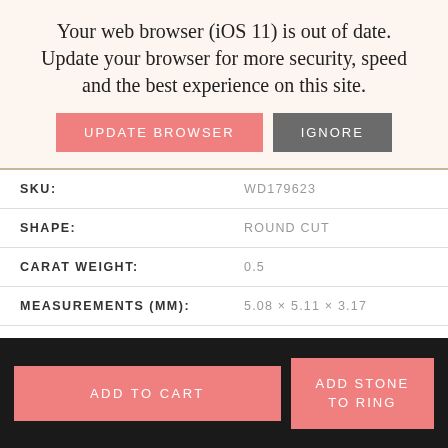Your web browser (iOS 11) is out of date. Update your browser for more security, speed and the best experience on this site.
UPDATE BROWSER | IGNORE
| SKU: | WD179623 |
| SHAPE: | ROUND CUT |
| CARAT WEIGHT: | 0.5 |
| MEASUREMENTS (MM): | 5.08 × 5.11 × 3.17 |
| CUT: | IDEAL |
| COLOR: | G |
ADD TO CART | ADD STONE TO RING